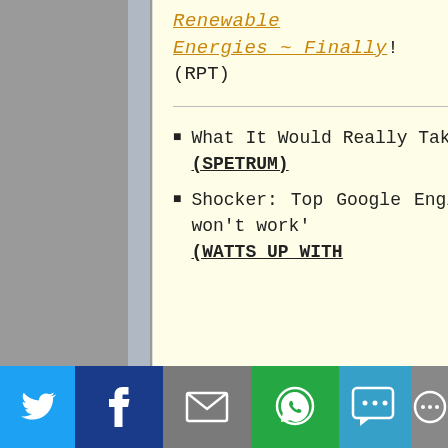Renewable Energies ~ Finally! (RPT)
What It Would Really Take to Reverse Climate Change (SPETRUM)
Shocker: Top Google Engineers Say Renewable Energy 'Simply won't work' (WATTS UP WITH
[Figure (infographic): Social media share bar with buttons for Twitter, Facebook, Email, WhatsApp, SMS, and More]